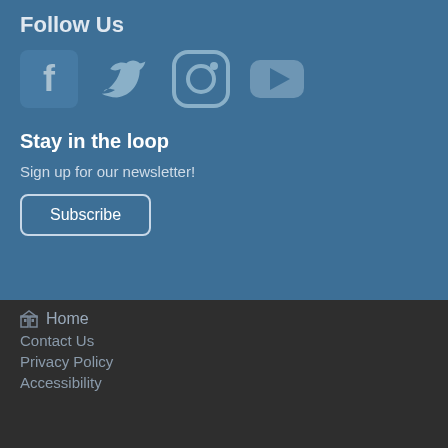Follow Us
[Figure (illustration): Social media icons: Facebook, Twitter, Instagram, YouTube]
Stay in the loop
Sign up for our newsletter!
Subscribe
Home
Contact Us
Privacy Policy
Accessibility